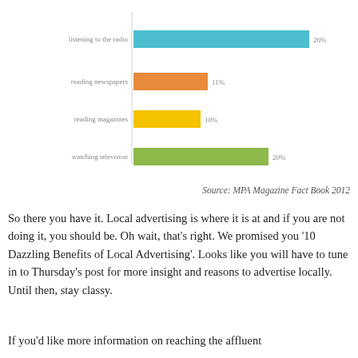[Figure (bar-chart): ]
Source: MPA Magazine Fact Book 2012
So there you have it. Local advertising is where it is at and if you are not doing it, you should be. Oh wait, that's right. We promised you '10 Dazzling Benefits of Local Advertising'. Looks like you will have to tune in to Thursday's post for more insight and reasons to advertise locally. Until then, stay classy.
If you'd like more information on reaching the affluent